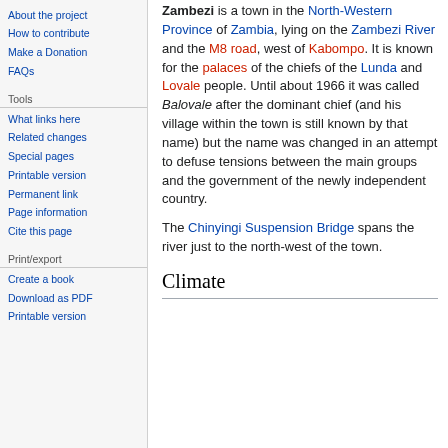About the project
How to contribute
Make a Donation
FAQs
Tools
What links here
Related changes
Special pages
Printable version
Permanent link
Page information
Cite this page
Print/export
Create a book
Download as PDF
Printable version
Zambezi is a town in the North-Western Province of Zambia, lying on the Zambezi River and the M8 road, west of Kabompo. It is known for the palaces of the chiefs of the Lunda and Lovale people. Until about 1966 it was called Balovale after the dominant chief (and his village within the town is still known by that name) but the name was changed in an attempt to defuse tensions between the main groups and the government of the newly independent country.
The Chinyingi Suspension Bridge spans the river just to the north-west of the town.
Climate